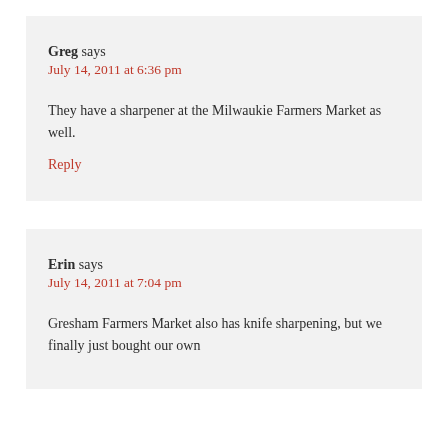Greg says
July 14, 2011 at 6:36 pm
They have a sharpener at the Milwaukie Farmers Market as well.
Reply
Erin says
July 14, 2011 at 7:04 pm
Gresham Farmers Market also has knife sharpening, but we finally just bought our own